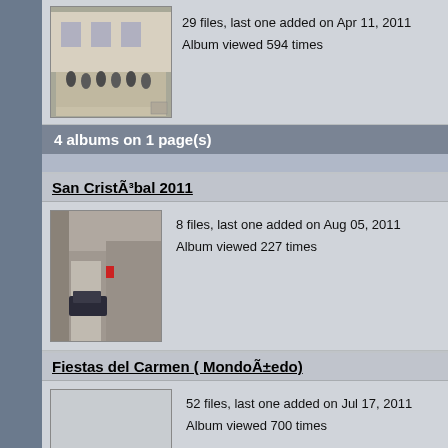[Figure (photo): Group photo of people standing in front of a building]
29 files, last one added on Apr 11, 2011
Album viewed 594 times
4 albums on 1 page(s)
San CristÃ³bal 2011
[Figure (photo): Street scene with a car in a narrow alley]
8 files, last one added on Aug 05, 2011
Album viewed 227 times
Fiestas del Carmen ( MondoÃ±edo)
[Figure (photo): Placeholder/blank thumbnail]
52 files, last one added on Jul 17, 2011
Album viewed 700 times
Fiestas San Pedro Da Torre , fotos enviadas por : Andres Garcia Doural
[Figure (photo): Placeholder/blank thumbnail]
6 files, last one added on Jul 10, 2011
Album viewed 378 times